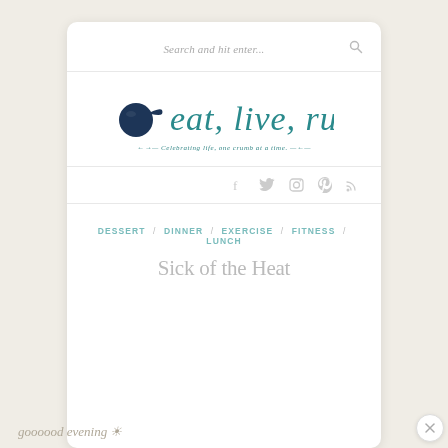Search and hit enter...
[Figure (logo): eat, live, run blog logo with cast iron skillet icon and script text, tagline: Celebrating life, one crumb at a time]
[Figure (infographic): Social media icons: Facebook, Twitter, Instagram, Pinterest, RSS]
DESSERT / DINNER / EXERCISE / FITNESS / LUNCH
Sick of the Heat
goooood evening